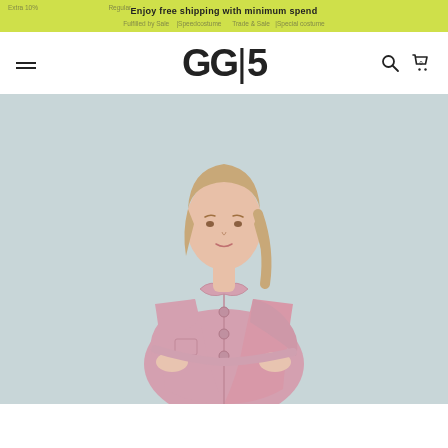Enjoy free shipping with minimum spend | Extra 10% Off Sale | Fulfilled by Sale | Speedcostume | Regular fulfil | Trade & Sale | Special costume
[Figure (logo): GG5 brand logo in black serif/display font]
[Figure (photo): Fashion product photo: female model wearing a pink short-sleeve button-up jacket/coat, light grey background, upper body visible]